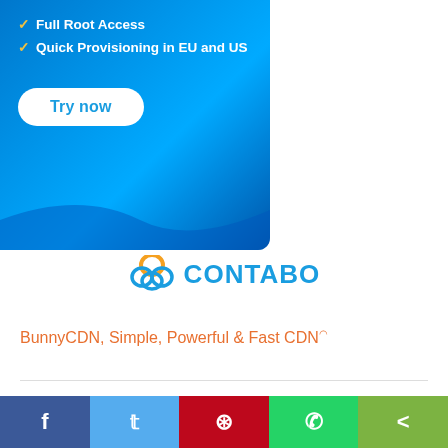[Figure (other): Contabo advertisement banner with blue gradient background, showing 'Full Root Access' and 'Quick Provisioning in EU and US' checkmarks, and a white 'Try now' button]
[Figure (logo): CONTABO logo with cloud icon in orange and blue, company name in blue text]
BunnyCDN, Simple, Powerful & Fast CDN
Register or Login
[Figure (other): Orange-red gradient Register button]
or Login
[Figure (other): Social sharing bar with Facebook, Twitter, Pinterest, WhatsApp, and share buttons]